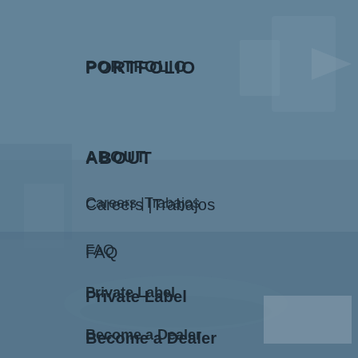[Figure (photo): Blurred urban/street scene with signs and architectural elements, overlaid with a dark blue-grey tint serving as a background for navigation menu items.]
PORTFOLIO
ABOUT
Careers |Trabajos
FAQ
Private Label
Become a Dealer
MATERIALS